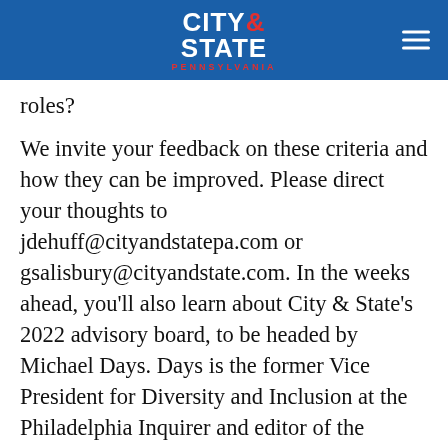CITY & STATE PENNSYLVANIA
roles?
We invite your feedback on these criteria and how they can be improved. Please direct your thoughts to jdehuff@cityandstatepa.com or gsalisbury@cityandstate.com. In the weeks ahead, you’ll also learn about City & State’s 2022 advisory board, to be headed by Michael Days. Days is the former Vice President for Diversity and Inclusion at the Philadelphia Inquirer and editor of the Philadelphia Daily News for more than 25 years. We’re excited to welcome our new board members, who will provide valuable insights that will help us maintain and improve our focus on diversity and inclusion within our power lists and rankings.